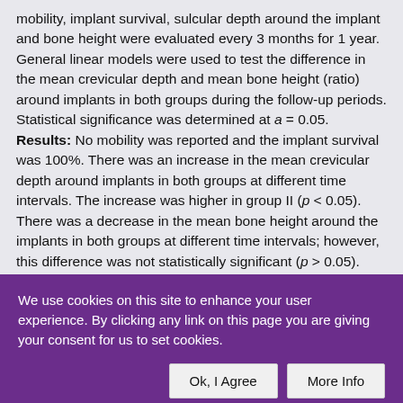mobility, implant survival, sulcular depth around the implant and bone height were evaluated every 3 months for 1 year. General linear models were used to test the difference in the mean crevicular depth and mean bone height (ratio) around implants in both groups during the follow-up periods. Statistical significance was determined at a = 0.05. Results: No mobility was reported and the implant survival was 100%. There was an increase in the mean crevicular depth around implants in both groups at different time intervals. The increase was higher in group II (p < 0.05). There was a decrease in the mean bone height around the implants in both groups at different time intervals; however, this difference was not statistically significant (p > 0.05). Conclusion: Furthermore, the
We use cookies on this site to enhance your user experience. By clicking any link on this page you are giving your consent for us to set cookies.